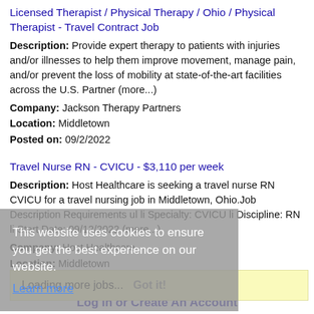Licensed Therapist / Physical Therapy / Ohio / Physical Therapist - Travel Contract Job
Description: Provide expert therapy to patients with injuries and/or illnesses to help them improve movement, manage pain, and/or prevent the loss of mobility at state-of-the-art facilities across the U.S. Partner (more...)
Company: Jackson Therapy Partners
Location: Middletown
Posted on: 09/2/2022
Travel Nurse RN - CVICU - $3,110 per week
Description: Host Healthcare is seeking a travel nurse RN CVICU for a travel nursing job in Middletown, Ohio.Job Description Requirements ul li Specialty: CVICU li Discipline: RN li Start Date: 09/12/2022 (more...)
Company: Host Healthcare
Location: Middletown
Posted on: 09/2/2022
This website uses cookies to ensure you get the best experience on our website. Learn more
Loading more jobs... Got it!
Log In or Create An Account